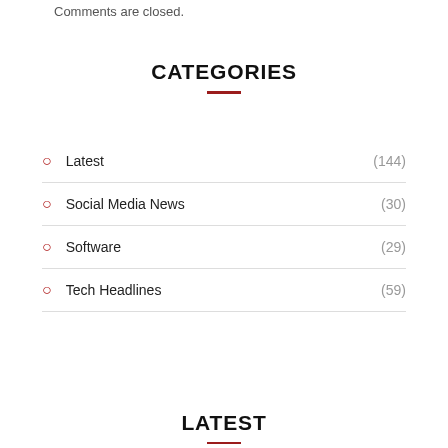Comments are closed.
CATEGORIES
Latest (144)
Social Media News (30)
Software (29)
Tech Headlines (59)
LATEST